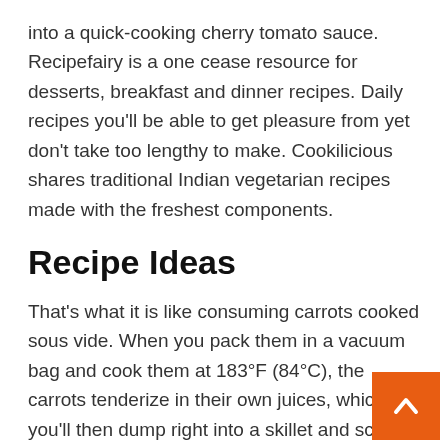into a quick-cooking cherry tomato sauce. Recipefairy is a one cease resource for desserts, breakfast and dinner recipes. Daily recipes you'll be able to get pleasure from yet don't take too lengthy to make. Cookilicious shares traditional Indian vegetarian recipes made with the freshest components.
Recipe Ideas
That's what it is like consuming carrots cooked sous vide. When you pack them in a vacuum bag and cook them at 183°F (84°C), the carrots tenderize in their own juices, which you'll then dump right into a skillet and scale back into a glaze for zero flavor loss. Finally, should you go for the 4.75-gallon Cambro, I'd suge getting a pot-lid organizer, which fits perfectly with the container. When cooking sous vide, it is important